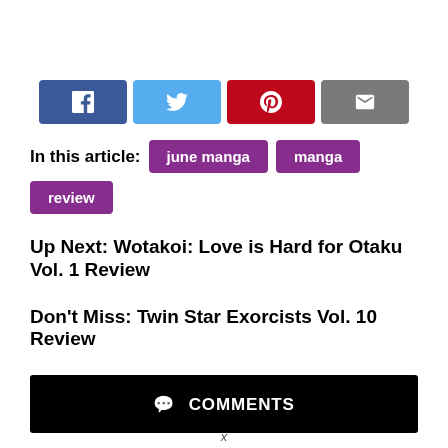[Figure (other): Social sharing buttons: Facebook (blue), Twitter (light blue), Pinterest (red), Email (gray)]
In this article: june manga  manga  review
Up Next: Wotakoi: Love is Hard for Otaku Vol. 1 Review
Don't Miss: Twin Star Exorcists Vol. 10 Review
💬 COMMENTS